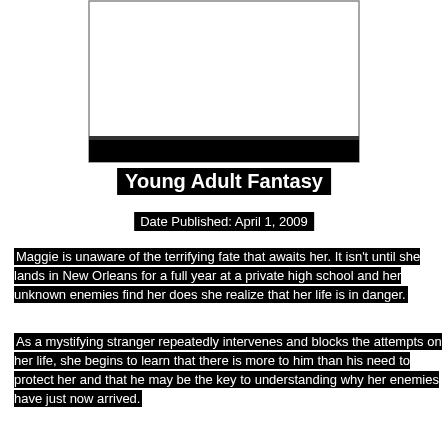[Figure (illustration): Book cover placeholder image — a rectangular outline with a thick black bar at the bottom]
Young Adult Fantasy
Date Published: April 1, 2009
Maggie is unaware of the terrifying fate that awaits her. It isn't until she lands in New Orleans for a full year at a private high school and her unknown enemies find her does she realize that her life is in danger.
As a mystifying stranger repeatedly intervenes and blocks the attempts on her life, she begins to learn that there is more to him than his need to protect her and that he may be the key to understanding why her enemies have just now arrived.